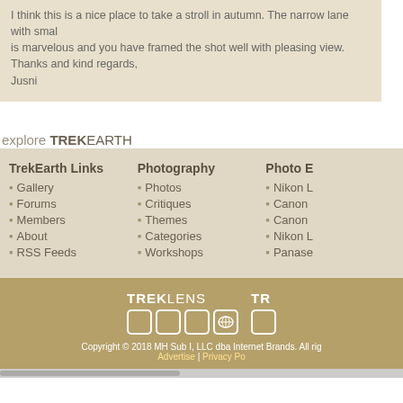I think this is a nice place to take a stroll in autumn. The narrow lane with small is marvelous and you have framed the shot well with pleasing view.
Thanks and kind regards,
Jusni
explore TREKEARTH
TrekEarth Links
• Gallery
• Forums
• Members
• About
• RSS Feeds
Photography
• Photos
• Critiques
• Themes
• Categories
• Workshops
Photo E
• Nikon L
• Canon
• Canon
• Nikon L
• Panase
[Figure (logo): TREKLENS logo with white text and square icon boxes on gold background]
[Figure (logo): TR logo partial with white square box on gold background]
Copyright © 2018 MH Sub I, LLC dba Internet Brands. All rig Advertise | Privacy Po